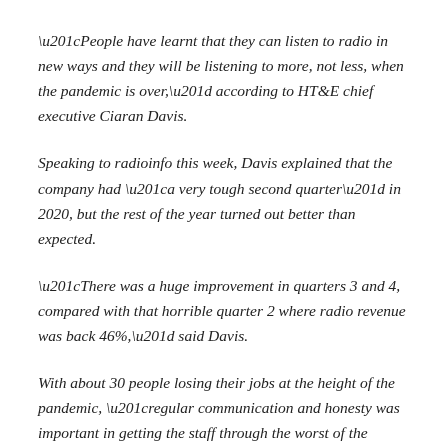“People have learnt that they can listen to radio in new ways and they will be listening to more, not less, when the pandemic is over,” according to HT&E chief executive Ciaran Davis.
Speaking to radioinfo this week, Davis explained that the company had “a very tough second quarter” in 2020, but the rest of the year turned out better than expected.
“There was a huge improvement in quarters 3 and 4, compared with that horrible quarter 2 where radio revenue was back 46%,” said Davis.
With about 30 people losing their jobs at the height of the pandemic, “regular communication and honesty was important in getting the staff through the worst of the pandemic.” It was “a very unsettling time” but the